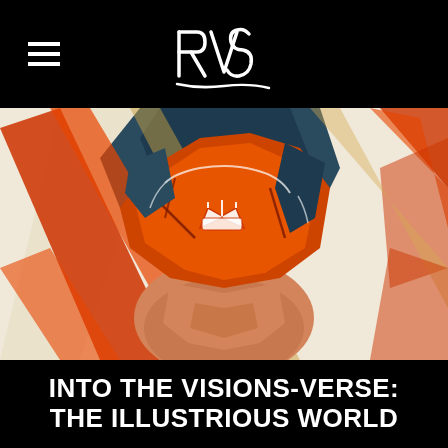RVS (logo)
[Figure (illustration): Comic book style illustration of a close-up face of a stylized superhero or masked figure wearing a crown symbol on their mask/helmet, rendered in bold orange, red, dark teal/blue and cream/off-white colors with graphic lines and angular shapes suggesting dynamic energy or power.]
INTO THE VISIONS-VERSE: THE ILLUSTRIOUS WORLD